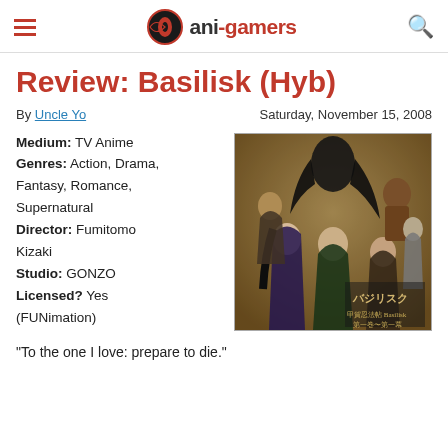ani-gamers
Review: Basilisk (Hyb)
By Uncle Yo   Saturday, November 15, 2008
Medium: TV Anime
Genres: Action, Drama, Fantasy, Romance, Supernatural
Director: Fumitomo Kizaki
Studio: GONZO
Licensed? Yes (FUNimation)
[Figure (illustration): Basilisk anime cover art showing multiple characters in dramatic poses]
“To the one I love: prepare to die.”